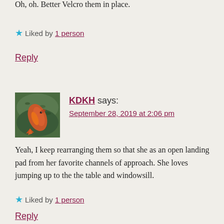Oh, oh. Better Velcro them in place.
★ Liked by 1 person
Reply
KDKH says:
September 28, 2019 at 2:06 pm
Yeah, I keep rearranging them so that she as an open landing pad from her favorite channels of approach. She loves jumping up to the the table and windowsill.
★ Liked by 1 person
Reply